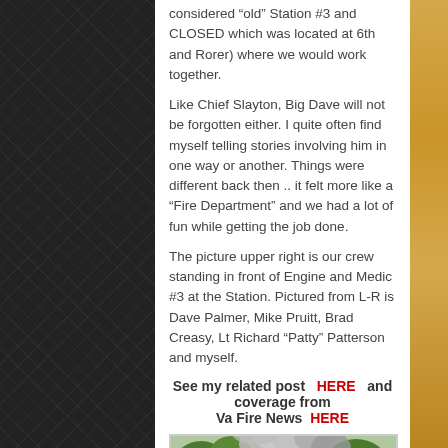considered “old” Station #3 and CLOSED which was located at 6th and Rorer) where we would work together.
Like Chief Slayton, Big Dave will not be forgotten either. I quite often find myself telling stories involving him in one way or another. Things were different back then .. it felt more like a “Fire Department” and we had a lot of fun while getting the job done.
The picture upper right is our crew standing in front of Engine and Medic #3 at the Station. Pictured from L-R is Dave Palmer, Mike Pruitt, Brad Creasy, Lt Richard “Patty” Patterson and myself.
See my related post   HERE   and coverage from Va Fire News  HERE
[Figure (photo): Photo of a house fire with heavy smoke and visible flames, trees visible in background]